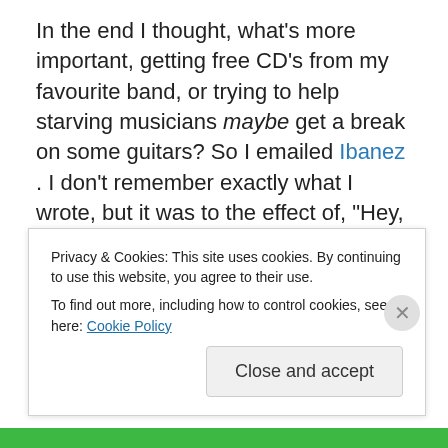In the end I thought, what's more important, getting free CD's from my favourite band, or trying to help starving musicians maybe get a break on some guitars? So I emailed Ibanez . I don't remember exactly what I wrote, but it was to the effect of, "Hey, I do clinics for you guys out here in Oz, and there's a metal band out of Sweden that pretty much kick the shit out of everyone, and if you
Privacy & Cookies: This site uses cookies. By continuing to use this website, you agree to their use.
To find out more, including how to control cookies, see here: Cookie Policy